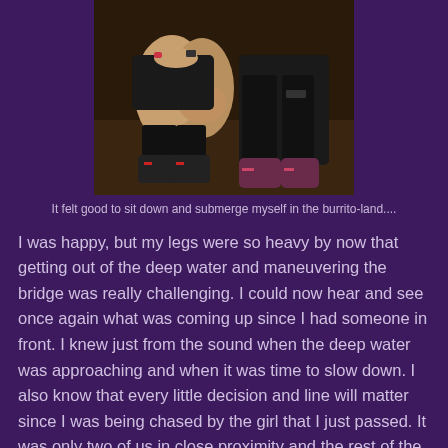[Figure (photo): Two athletes sitting down in athletic gear including compression socks and trail running shoes, photographed from the waist down]
It felt good to sit down and submerge myself in the burrito-land....
I was happy, but my legs were so heavy by now that getting out of the deep water and maneuvering the bridge was really challenging. I could now hear and see once again what was coming up since I had someone in front. I knew just from the sound when the deep water was approaching and when it was time to slow down. I also know that every little decision and line will matter since I was being chased by the girl that I just passed. It was only two of us in close proximity and the rest of the forest was dark. Now my red light guy in front stopped to work on his shoe and I said “oh no you can’t do that!” and he smiled and said “no worries, I will be there in a